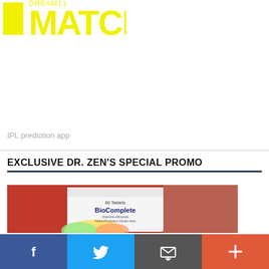[Figure (logo): Yellow MATCH logo with stylized text on white background]
IPL prediction app
EXCLUSIVE DR. ZEN'S SPECIAL PROMO
[Figure (photo): BioComplete product box (30 tablets, Vitamins+Minerals, Herbs+Probiotics, Gluten-free) on a red surface]
[Figure (infographic): Social sharing bar with Facebook, Twitter, email, and plus buttons]